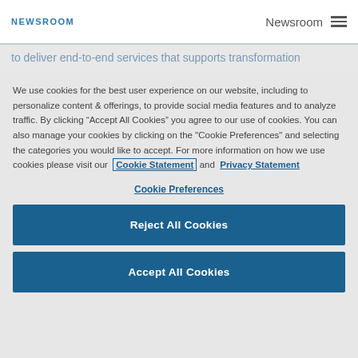NEWSROOM  Newsroom
to deliver end-to-end services that supports transformation
We use cookies for the best user experience on our website, including to personalize content & offerings, to provide social media features and to analyze traffic. By clicking “Accept All Cookies” you agree to our use of cookies. You can also manage your cookies by clicking on the "Cookie Preferences" and selecting the categories you would like to accept. For more information on how we use cookies please visit our Cookie Statement and Privacy Statement
Cookie Preferences
Reject All Cookies
Accept All Cookies